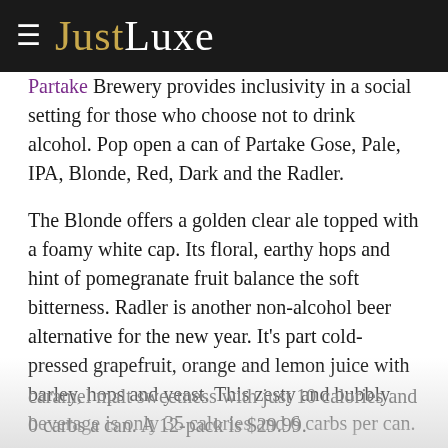≡ JustLuxe
Partake Brewery provides inclusivity in a social setting for those who choose not to drink alcohol. Pop open a can of Partake Gose, Pale, IPA, Blonde, Red, Dark and the Radler.
The Blonde offers a golden clear ale topped with a foamy white cap. Its floral, earthy hops and hint of pomegranate fruit balance the soft bitterness. Radler is another non-alcohol beer alternative for the new year. It's part cold-pressed grapefruit, orange and lemon juice with barley, hops and yeast. This zesty and bubbly beverage is only 35 calories and 6 carbs per can.
The Pale is another craft beer winner offering a caramel malt sweetness with just 10 calories and 0 carbs a can. A 12-pack is $29.99.